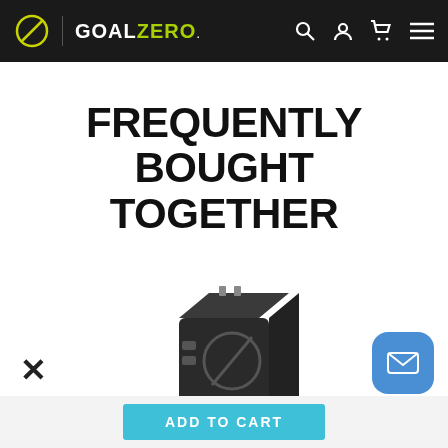GOAL ZERO
FREQUENTLY BOUGHT TOGETHER
[Figure (photo): Small black Goal Zero USB wall charger/power adapter with the Goal Zero logo (a circle with a diagonal line) on its face, shown on a white background.]
ADD TO CART